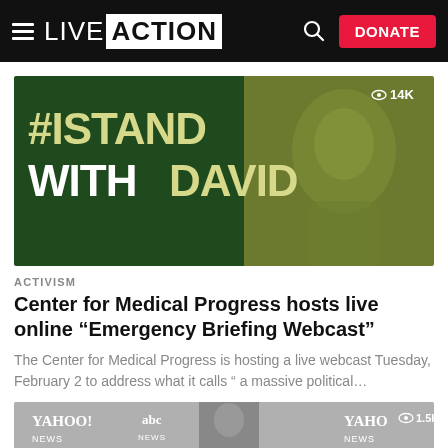LIVE ACTION — DONATE
[Figure (photo): #ISTANDWITHDAVID campaign image with dark green background and man's face, view count 14K]
ACTIVISM
Center for Medical Progress hosts live online “Emergency Briefing Webcast”
The Center for Medical Progress is hosting a live webcast Tuesday, February 2 to address what it calls “ a massive political…
[Figure (photo): Bottom strip showing YAHOO! NEWS, abc NEWS logos and a person's photo, view count 1.5K]